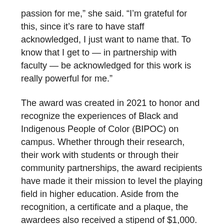passion for me,” she said. “I’m grateful for this, since it’s rare to have staff acknowledged, I just want to name that. To know that I get to — in partnership with faculty — be acknowledged for this work is really powerful for me.”
The award was created in 2021 to honor and recognize the experiences of Black and Indigenous People of Color (BIPOC) on campus. Whether through their research, their work with students or through their community partnerships, the award recipients have made it their mission to level the playing field in higher education. Aside from the recognition, a certificate and a plaque, the awardees also received a stipend of $1,000.
While they differ in their areas of study and work, the awardees were united by their passion for making positive changes at USD, recognizing the accomplishments made